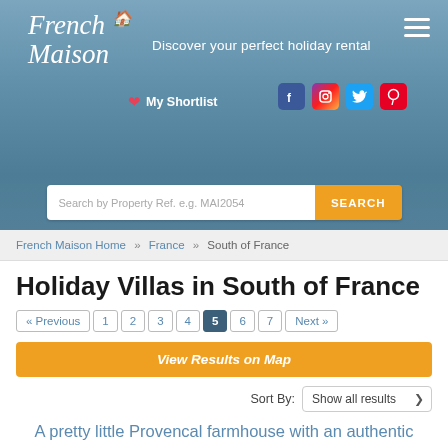French Maison — Discover your perfect holiday rental
My Shortlist
Search by Property Ref. e.g. MAI2054  SEARCH
French Maison Home » France » South of France
Holiday Villas in South of France
« Previous  1  2  3  4  5  6  7  Next »
View Results on Map
Sort By: Show all results
A pretty little Provencal farmhouse with an authentic charm, in a natural setting